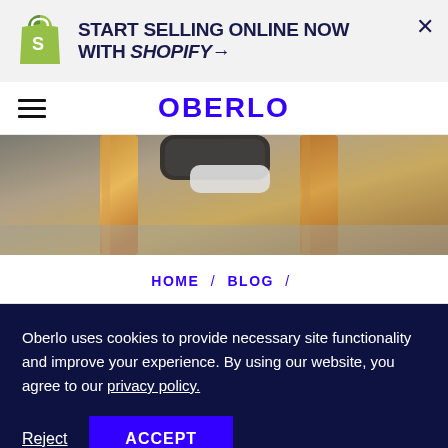[Figure (logo): Shopify green shopping bag logo]
START SELLING ONLINE NOW WITH SHOPIFY→
[Figure (logo): Oberlo logo in blue uppercase text]
[Figure (photo): Close-up photo of wooden furniture legs and a device on a surface]
HOME / BLOG /
Oberlo uses cookies to provide necessary site functionality and improve your experience. By using our website, you agree to our privacy policy.
Reject
ACCEPT